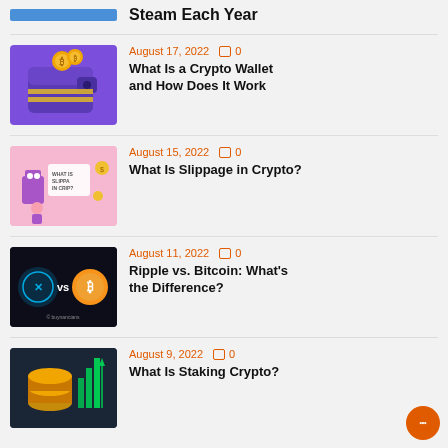Steam Each Year
August 17, 2022   0
What Is a Crypto Wallet and How Does It Work
[Figure (illustration): Purple crypto wallet with gold coins]
August 15, 2022   0
What Is Slippage in Crypto?
[Figure (illustration): What Is Slippage in Crypto infographic on pink background]
August 11, 2022   0
Ripple vs. Bitcoin: What's the Difference?
[Figure (illustration): Ripple XRP vs Bitcoin logos on dark background]
August 9, 2022   0
What Is Staking Crypto?
[Figure (illustration): Staking crypto coins on dark background]